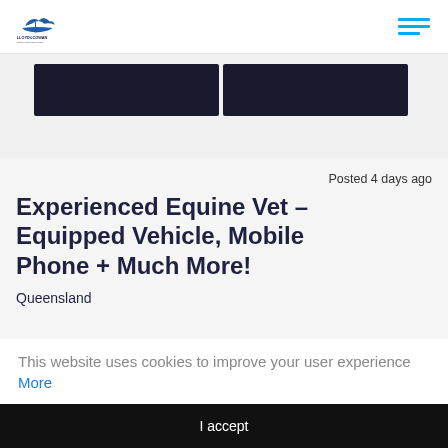Lloyd & Cowan
[Figure (photo): Two dark image panels side by side, partially visible at top of page]
Posted 4 days ago
Experienced Equine Vet – Equipped Vehicle, Mobile Phone + Much More!
Queensland
This website uses cookies to improve your user experience More
I accept